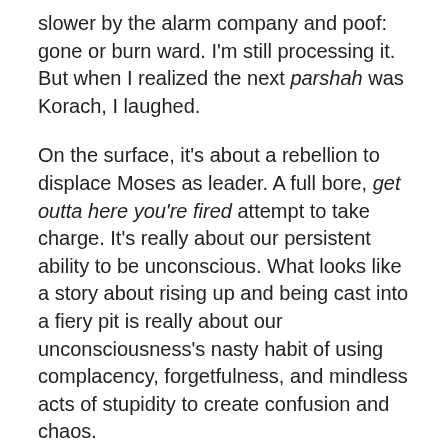slower by the alarm company and poof: gone or burn ward. I'm still processing it. But when I realized the next parshah was Korach, I laughed.
On the surface, it's about a rebellion to displace Moses as leader. A full bore, get outta here you're fired attempt to take charge. It's really about our persistent ability to be unconscious. What looks like a story about rising up and being cast into a fiery pit is really about our unconsciousness's nasty habit of using complacency, forgetfulness, and mindless acts of stupidity to create confusion and chaos.
Raise your hand if you've never blurted the wrong word to exactly the wrong person or missed a critical deadline. Give yourself a gold star if you've never sliced your thumb instead of the bagel, hit another car, or tweaked your knee